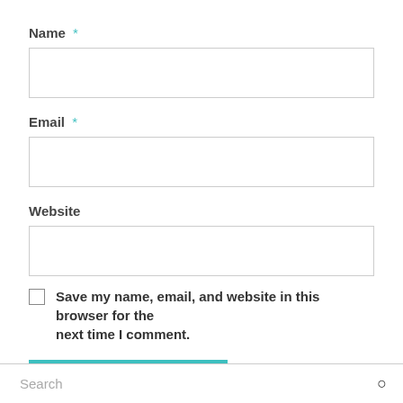Name *
[Figure (screenshot): Empty text input field for Name]
Email *
[Figure (screenshot): Empty text input field for Email]
Website
[Figure (screenshot): Empty text input field for Website]
Save my name, email, and website in this browser for the next time I comment.
POST COMMENT
Search